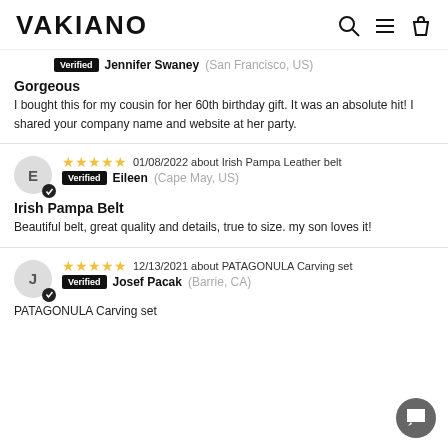VAKIANO
Verified Jennifer Swaney (San Francisco, US)
Gorgeous
I bought this for my cousin for her 60th birthday gift. It was an absolute hit! I shared your company name and website at her party.
★★★★★ 01/08/2022 about Irish Pampa Leather belt
Verified Eileen (Cape May, US)
Irish Pampa Belt
Beautiful belt, great quality and details, true to size. my son loves it!
★★★★★ 12/13/2021 about PATAGONULA Carving set
Verified Josef Pacak (Barrie, CA)
PATAGONULA Carving set